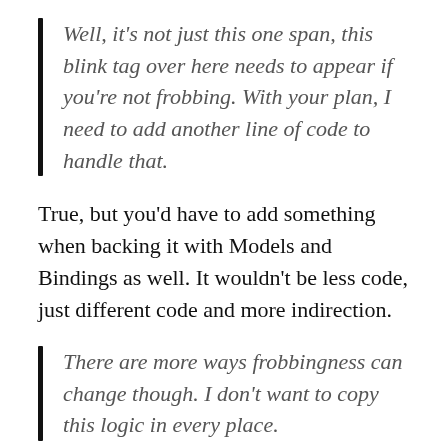Well, it's not just this one span, this blink tag over here needs to appear if you're not frobbing. With your plan, I need to add another line of code to handle that.
True, but you'd have to add something when backing it with Models and Bindings as well. It wouldn't be less code, just different code and more indirection.
There are more ways frobbingness can change though. I don't want to copy this logic in every place.
And well you should not, but you already have